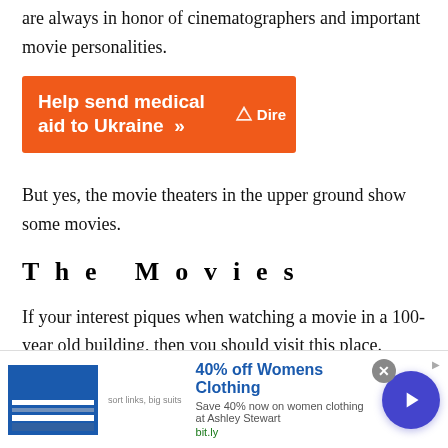are always in honor of cinematographers and important movie personalities.
[Figure (other): Orange advertisement banner: 'Help send medical aid to Ukraine >>' with Direct Relief logo partially visible on the right]
But yes, the movie theaters in the upper ground show some movies.
The Movies
If your interest piques when watching a movie in a 100-year old building, then you should visit this place.
[Figure (other): Bottom advertisement: '40% off Womens Clothing - Save 40% now on women clothing at Ashley Stewart - bit.ly' with a close button and play button on the right, and AdChoices icon]